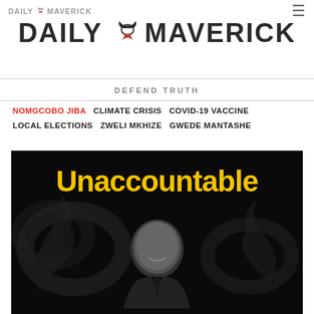DAILY MAVERICK
DAILY MAVERICK
DEFEND TRUTH
NOMGCOBO JIBA   CLIMATE CRISIS   COVID-19 VACCINE   LOCAL ELECTIONS   ZWELI MKHIZE   GWEDE MANTASHE
[Figure (photo): Dark black and white photo of a smiling man in a suit with swirling smoke, overlaid with bold yellow text 'Unaccountable']